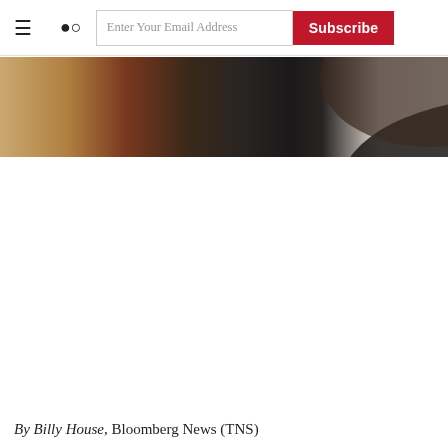≡  🔍  Enter Your Email Address  Subscribe
[Figure (photo): Partial photo of a man with dark beard wearing a dark suit, cropped at the top portion of the page]
By Billy House, Bloomberg News (TNS)